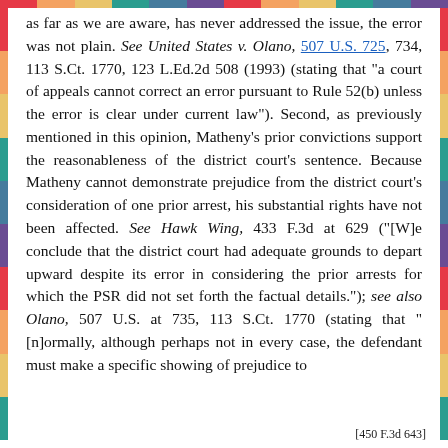as far as we are aware, has never addressed the issue, the error was not plain. See United States v. Olano, 507 U.S. 725, 734, 113 S.Ct. 1770, 123 L.Ed.2d 508 (1993) (stating that "a court of appeals cannot correct an error pursuant to Rule 52(b) unless the error is clear under current law"). Second, as previously mentioned in this opinion, Matheny's prior convictions support the reasonableness of the district court's sentence. Because Matheny cannot demonstrate prejudice from the district court's consideration of one prior arrest, his substantial rights have not been affected. See Hawk Wing, 433 F.3d at 629 ("[W]e conclude that the district court had adequate grounds to depart upward despite its error in considering the prior arrests for which the PSR did not set forth the factual details."); see also Olano, 507 U.S. at 735, 113 S.Ct. 1770 (stating that "[n]ormally, although perhaps not in every case, the defendant must make a specific showing of prejudice to
[450 F.3d 643]